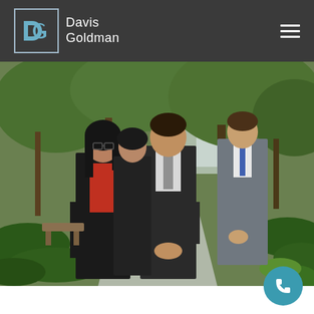Davis Goldman
[Figure (photo): Group of legal professionals in business attire walking along an outdoor pathway surrounded by lush tropical greenery and trees, with a city building visible in the background. Approximately 7 people, men and women, wearing dark suits.]
[Figure (logo): Davis Goldman law firm logo - square icon with DG monogram in blue/teal on dark background, with 'Davis Goldman' text in white next to it. Hamburger menu icon on the right side of the navigation bar.]